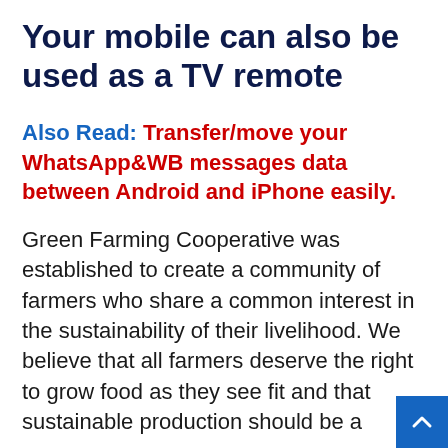Your mobile can also be used as a TV remote
Also Read: Transfer/move your WhatsApp&WB messages data between Android and iPhone easily.
Green Farming Cooperative was established to create a community of farmers who share a common interest in the sustainability of their livelihood. We believe that all farmers deserve the right to grow food as they see fit and that sustainable production should be a